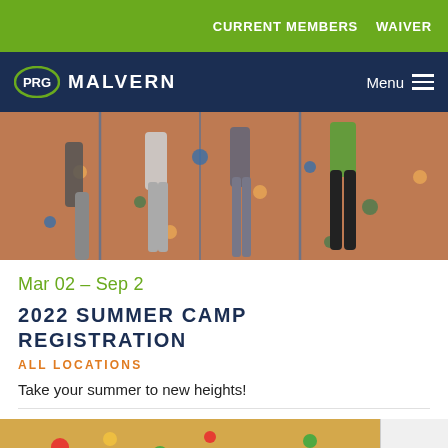CURRENT MEMBERS  WAIVER
PRG MALVERN  Menu
[Figure (photo): Children climbing a rock wall, viewed from behind, orange/brown textured wall with colorful climbing holds]
Mar 02 – Sep 2
2022 SUMMER CAMP REGISTRATION
ALL LOCATIONS
Take your summer to new heights!
[Figure (photo): Partial view of a climbing wall with colorful holds, partially cropped at bottom of page]